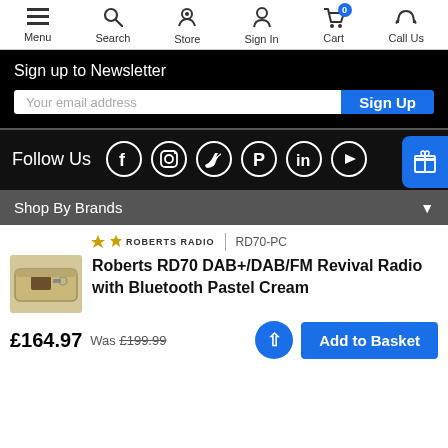Menu  Search  Store  Sign In  Cart 0  Call Us
Sign up to Newsletter
Your email address
Sign Up
Follow Us
[Figure (infographic): Social media icons: Facebook, Instagram, Twitter, Pinterest, LinkedIn, YouTube — all white circle outlines on black background]
Shop By Brands
[Figure (logo): Roberts Radio logo with crown icon and text ROBERTS RADIO]
RD70-PC
Roberts RD70 DAB+/DAB/FM Revival Radio with Bluetooth Pastel Cream
£164.97  Was £199.99
Add to Basket